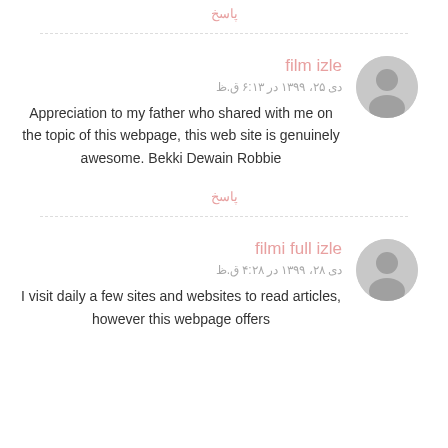پاسخ
film izle
دی ۲۵، ۱۳۹۹ در ۶:۱۳ ق.ظ
Appreciation to my father who shared with me on the topic of this webpage, this web site is genuinely awesome. Bekki Dewain Robbie
پاسخ
filmi full izle
دی ۲۸، ۱۳۹۹ در ۴:۲۸ ق.ظ
I visit daily a few sites and websites to read articles, however this webpage offers